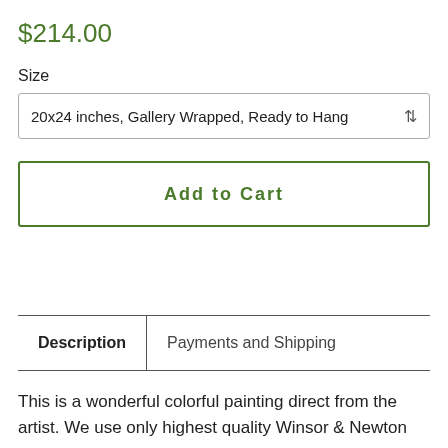$214.00
Size
20x24 inches, Gallery Wrapped, Ready to Hang
Add to Cart
| Description | Payments and Shipping |
| --- | --- |
This is a wonderful colorful painting direct from the artist. We use only highest quality Winsor & Newton